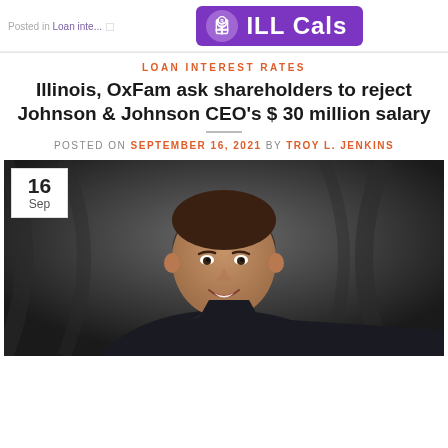Posted in Loan Interest Rates — ILL Cals
LOAN INTEREST RATES
Illinois, OxFam ask shareholders to reject Johnson & Johnson CEO's $ 30 million salary
POSTED ON SEPTEMBER 16, 2021 BY TROY L. JENKINS
[Figure (photo): Man in dark suit with red tie smiling, dark background. Date badge shows 16 Sep.]